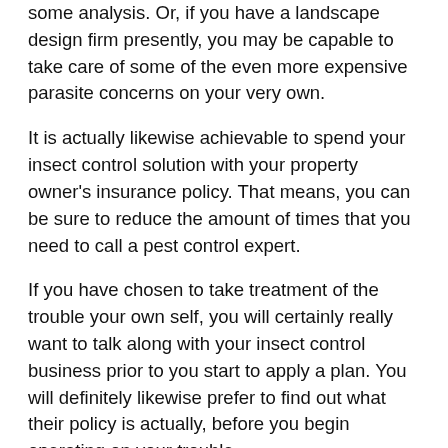some analysis. Or, if you have a landscape design firm presently, you may be capable to take care of some of the even more expensive parasite concerns on your very own.
It is actually likewise achievable to spend your insect control solution with your property owner's insurance policy. That means, you can be sure to reduce the amount of times that you need to call a pest control expert.
If you have chosen to take treatment of the trouble your own self, you will certainly really want to talk along with your insect control business prior to you start to apply a plan. You will definitely likewise prefer to find out what their policy is actually, before you begin operating on your trouble.
If you do certainly not take the opportunity to find out concerning what you will need to have to carry out, then you can potentially receive hurt. You might